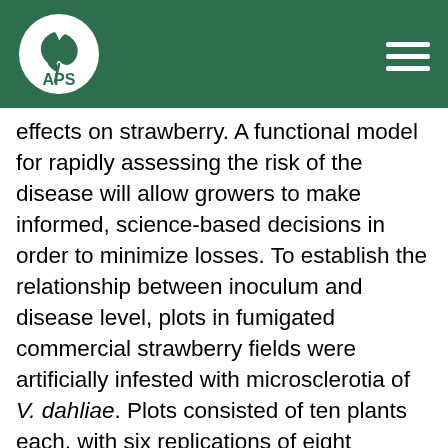APS
effects on strawberry. A functional model for rapidly assessing the risk of the disease will allow growers to make informed, science-based decisions in order to minimize losses. To establish the relationship between inoculum and disease level, plots in fumigated commercial strawberry fields were artificially infested with microsclerotia of V. dahliae. Plots consisted of ten plants each, with six replications of eight inoculum levels (representing 0, 1, 3, 5, 10, 15, 20 and 30 microsclerotia per gram of soil), repeated at two separate sites. Soil samples were taken from each plot and plated on NP-10 media using the modified Anderson air sampler technique to quantify actual inoculum levels. Each plant was measured (height and width) and rated for disease severity at regular intervals throughout the